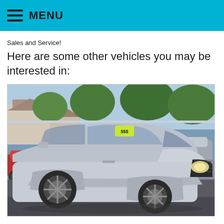MENU
Sales and Service!
Here are some other vehicles you may be interested in:
[Figure (photo): Silver Saab 9-3 convertible with a yellow price sticker on windshield, parked in a car dealership lot with other vehicles and trees visible in the background.]